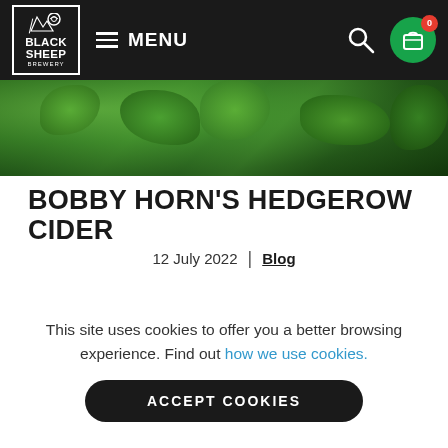Black Sheep Brewery — MENU navigation bar
[Figure (photo): Close-up photo of green leaves/foliage — hedgerow]
BOBBY HORN'S HEDGEROW CIDER
12 July 2022 | Blog
[Figure (photo): Blurred photo of what appears to be a person or product, dark background]
This site uses cookies to offer you a better browsing experience. Find out how we use cookies.
ACCEPT COOKIES